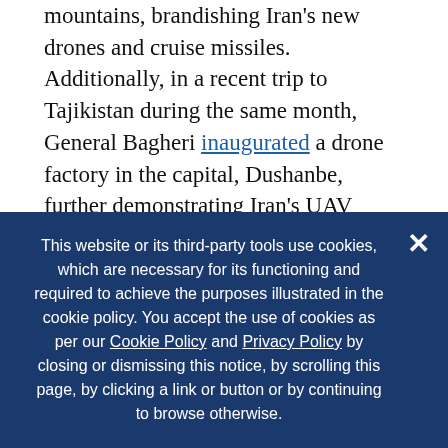mountains, brandishing Iran's new drones and cruise missiles. Additionally, in a recent trip to Tajikistan during the same month, General Bagheri inaugurated a drone factory in the capital, Dushanbe, further demonstrating Iran's UAV capabilities.
Brigadier General Aziz Nasirzadeh, the Commander of the Iranian Air Force, the Deputy Chief of Staff for the Iranian Armed Forces, and pilot in the Iran-Iraq war (1980-1988), warned in March that "the conflict in Ukraine teaches us important lessons. They
This website or its third-party tools use cookies, which are necessary for its functioning and required to achieve the purposes illustrated in the cookie policy. You accept the use of cookies as per our Cookie Policy and Privacy Policy by closing or dismissing this notice, by scrolling this page, by clicking a link or button or by continuing to browse otherwise.